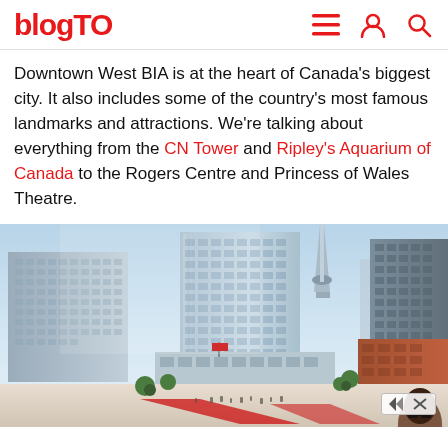blogTO
Downtown West BIA is at the heart of Canada's biggest city. It also includes some of the country's most famous landmarks and attractions. We're talking about everything from the CN Tower and Ripley's Aquarium of Canada to the Rogers Centre and Princess of Wales Theatre.
[Figure (photo): Architectural rendering of Toronto downtown skyline showing modern glass office towers, the CN Tower in the background, a public plaza with people and trees, and a historic red-brick building on the right. A woman with sunglasses is partially visible at bottom right.]